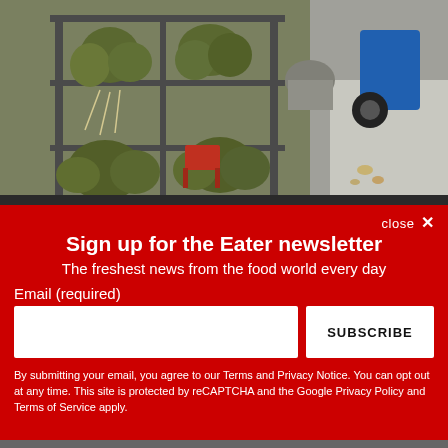[Figure (photo): Outdoor street food market stall with bundles of wrapped food items (likely zongzi/rice dumplings) hanging from a metal rack display. Red stool and cooking equipment visible in background. A motorcycle is partially visible on the right side on a street.]
close ✕
Sign up for the Eater newsletter
The freshest news from the food world every day
Email (required)
SUBSCRIBE
By submitting your email, you agree to our Terms and Privacy Notice. You can opt out at any time. This site is protected by reCAPTCHA and the Google Privacy Policy and Terms of Service apply.